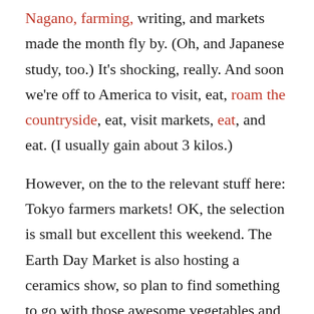Nagano, farming, writing, and markets made the month fly by. (Oh, and Japanese study, too.) It's shocking, really. And soon we're off to America to visit, eat, roam the countryside, eat, visit markets, eat, and eat. (I usually gain about 3 kilos.)
However, on the to the relevant stuff here: Tokyo farmers markets! OK, the selection is small but excellent this weekend. The Earth Day Market is also hosting a ceramics show, so plan to find something to go with those awesome vegetables and fruits. The UNU Market will rock it as always, so just plan to have fun. A visit last weekend to the Yurakucho Market found it still going strong and brimming with awesome items. It's seriously worth the journey. And, lest I leave them out, the Saturday Roppongi Market is on and awesome as ever, too. An extended interview with the